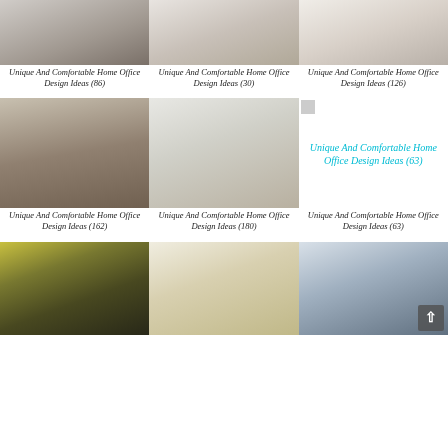[Figure (photo): Home office photo 86]
[Figure (photo): Home office photo 30]
[Figure (photo): Home office photo 126]
Unique And Comfortable Home Office Design Ideas (86)
Unique And Comfortable Home Office Design Ideas (30)
Unique And Comfortable Home Office Design Ideas (126)
[Figure (photo): Home office photo 162]
[Figure (photo): Home office photo 180]
[Figure (photo): Home office photo 63 (cyan link)]
Unique And Comfortable Home Office Design Ideas (162)
Unique And Comfortable Home Office Design Ideas (180)
Unique And Comfortable Home Office Design Ideas (63)
[Figure (photo): Home office photo bottom left]
[Figure (photo): Home office photo bottom center]
[Figure (photo): Home office photo bottom right]